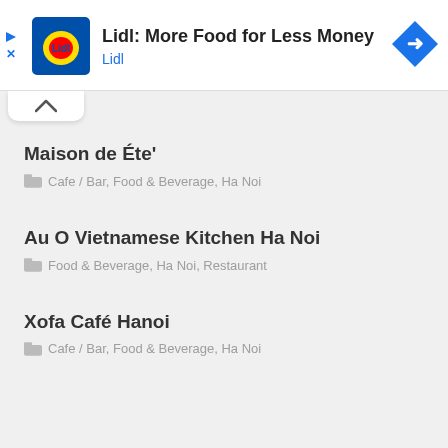[Figure (screenshot): Lidl advertisement banner with Lidl logo, ad title 'Lidl: More Food for Less Money', blue navigation arrow icon, and ad controls]
[Figure (screenshot): Collapse/chevron-up tab button]
Maison de Éte'
Cafe / Bar, Food & Beverage, Ha Noi
Au O Vietnamese Kitchen Ha Noi
Food & Beverage, Ha Noi, Restaurant
Xofa Café Hanoi
Cafe / Bar, Food & Beverage, Ha Noi